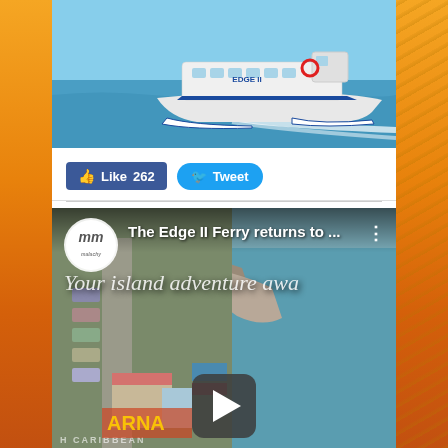[Figure (photo): White and blue high-speed catamaran ferry named EDGE II speeding across blue ocean water]
[Figure (screenshot): Facebook Like button showing 262 likes and Twitter Tweet button]
[Figure (screenshot): Video thumbnail showing 'The Edge II Ferry returns to ...' with malachy logo, script text 'Your island adventure awa...' and aerial view of Caribbean coastal town with play button]